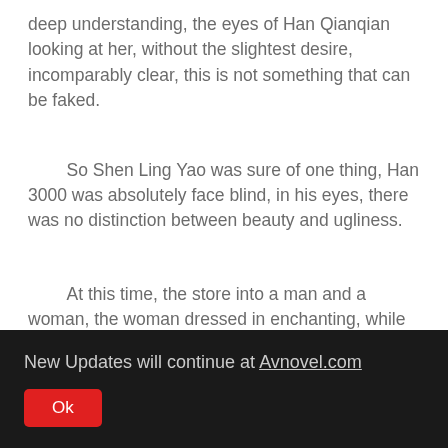deep understanding, the eyes of Han Qianqian looking at her, without the slightest desire, incomparably clear, this is not something that can be faked.
So Shen Ling Yao was sure of one thing, Han 3000 was absolutely face blind, in his eyes, there was no distinction between beauty and ugliness.
At this time, the store into a man and a woman, the woman dressed in enchanting, while the man wide body, thick, neck hanging a very thick gold necklace, full of rich
New Updates will continue at Avnovel.com
Ok